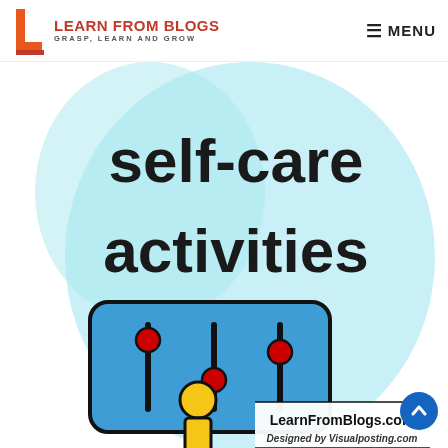[Figure (logo): Learn From Blogs logo with orange L-shaped graphic and red text 'LEARN FROM BLOGS' and subtitle 'GRASP, LEARN AND GROW']
≡ MENU
[Figure (illustration): Self-care activities infographic. Light blue circular brush-stroke background with bold dark text 'self-care activities'. Below is an icon of a control/slider panel with blue background and red knobs, and a yellow human figure icon. Bottom text reads 'LearnFromBlogs.com' and 'Designed by Visualposting.com']